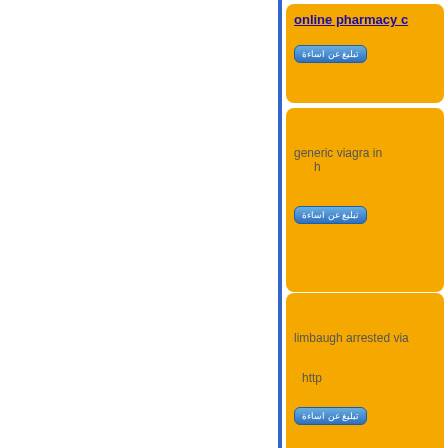[Figure (screenshot): Web forum or search results page showing Arabic-language report buttons and spam/pharmacy related links on orange cards. Left panel is white with blue border. Right panel shows orange card blocks with text: 'online pharmacy c...', Arabic report button, 'generic viagra in...h...', Arabic report button, 'limbaugh arrested via...http...', Arabic report button, 'pharmacy online pres...']
online pharmacy c
تبليغ عن اساءة
generic viagra in h
تبليغ عن اساءة
limbaugh arrested via
http
تبليغ عن اساءة
pharmacy online pres